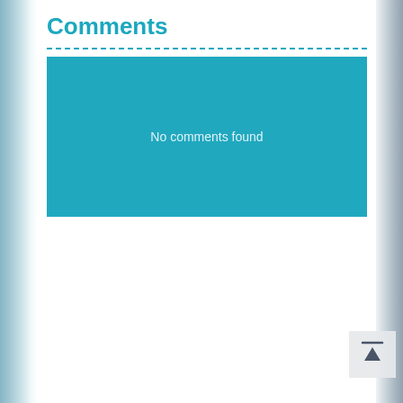Comments
No comments found
[Figure (other): Scroll to top button with upward arrow icon]